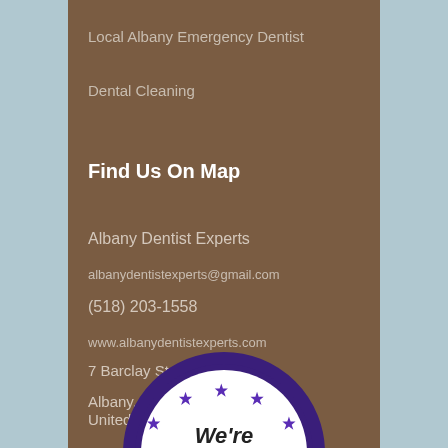Local Albany Emergency Dentist
Dental Cleaning
Find Us On Map
Albany Dentist Experts
albanydentistexperts@gmail.com
(518) 203-1558
www.albanydentistexperts.com
7 Barclay Street
Albany, NY 12209
United States
[Figure (illustration): Circular badge/seal with dark purple border, white interior, purple stars arranged in an arc, and bold text 'We're' at the bottom. Purple banner at the very bottom.]